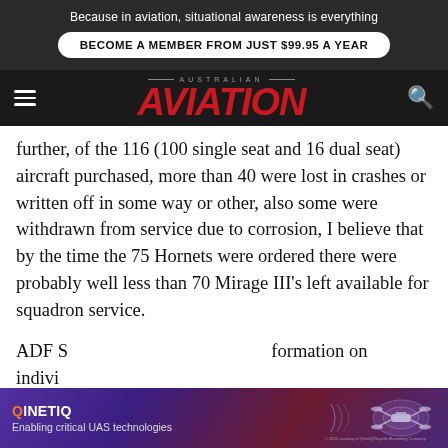Because in aviation, situational awareness is everything
BECOME A MEMBER FROM JUST $99.95 A YEAR
AVIATION
further, of the 116 (100 single seat and 16 dual seat) aircraft purchased, more than 40 were lost in crashes or written off in some way or other, also some were withdrawn from service due to corrosion, I believe that by the time the 75 Hornets were ordered there were probably well less than 70 Mirage III's left available for squadron service.
ADF Serials is a great source of information on indivi…
[Figure (other): QinetiQ advertisement banner: 'Enabling critical UAS technologies' with purple/violet background and UAS vehicle imagery]